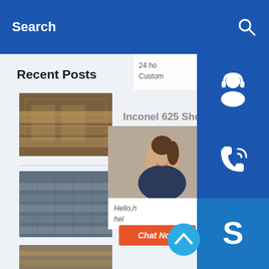Search
Recent Posts
[Figure (photo): Thumbnail of metal sheets/industrial material for Inconel 625 Sheet post]
Inconel 625 Sheet
[Figure (photo): Thumbnail of metal bars/industrial material for aest aluminum alloy threadless bike headset blue post]
aest aluminum alloy threadless bike headset blue
[Figure (photo): Partial thumbnail of third post]
[Figure (screenshot): Customer support widget with headset icon on blue background]
[Figure (screenshot): Phone call widget with phone icon on blue background]
[Figure (screenshot): Skype chat widget with Skype icon on blue background]
24 ho
Custom
[Figure (photo): Customer service representative photo (woman smiling)]
Hello,h
hel
Chat Now
[Figure (other): Back to top arrow button (teal circle with upward chevron)]